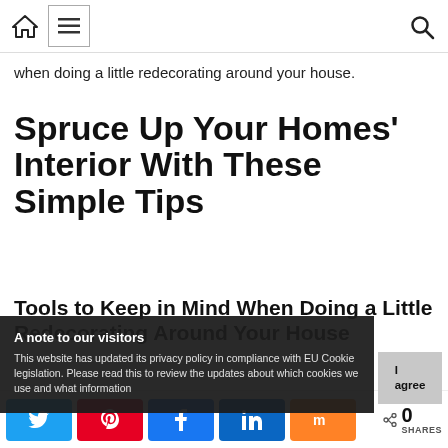[navigation bar with home icon, menu icon, search icon]
when doing a little redecorating around your house.
Spruce Up Your Homes' Interior With These Simple Tips
Tools to Keep in Mind When Doing a Little Redecorating Around Your House
A note to our visitors
This website has updated its privacy policy in compliance with EU Cookie legislation. Please read this to review the updates about which cookies we use and what information
Social share bar: Twitter, Pinterest, Facebook, LinkedIn, Mix — 0 SHARES